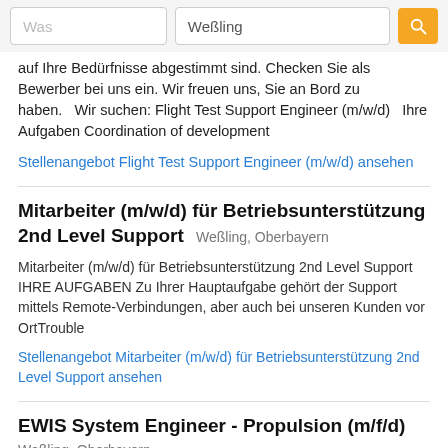Was | Weßling
auf Ihre Bedürfnisse abgestimmt sind. Checken Sie als Bewerber bei uns ein. Wir freuen uns, Sie an Bord zu haben.   Wir suchen: Flight Test Support Engineer (m/w/d)   Ihre Aufgaben Coordination of development
Stellenangebot Flight Test Support Engineer (m/w/d) ansehen
Mitarbeiter (m/w/d) für Betriebsunterstützung 2nd Level Support
Weßling, Oberbayern
Mitarbeiter (m/w/d) für Betriebsunterstützung 2nd Level Support IHRE AUFGABEN Zu Ihrer Hauptaufgabe gehört der Support mittels Remote-Verbindungen, aber auch bei unseren Kunden vor OrtTrouble
Stellenangebot Mitarbeiter (m/w/d) für Betriebsunterstützung 2nd Level Support ansehen
EWIS System Engineer - Propulsion (m/f/d)
Weßling, Oberbayern